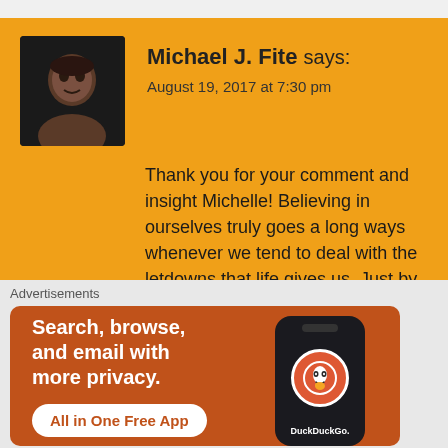Michael J. Fite says. August 19, 2017 at 7:30 pm
Thank you for your comment and insight Michelle! Believing in ourselves truly goes a long ways whenever we tend to deal with the letdowns that life gives us. Just by having that faith in yourself and what you can do, you can push through and eventually survive whatever life may throw at you.
★ Liked by 1 person
Advertisements
[Figure (screenshot): DuckDuckGo advertisement banner: 'Search, browse, and email with more privacy. All in One Free App' with phone showing DuckDuckGo logo]